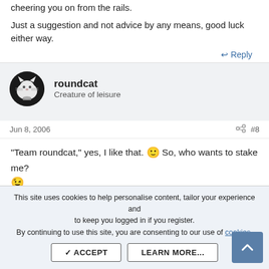cheering you on from the rails.
Just a suggestion and not advice by any means, good luck either way.
↩ Reply
roundcat
Creature of leisure
Jun 8, 2006   #8
"Team roundcat," yes, I like that. 🙂 So, who wants to stake me? 😉
There are plenty of tourneys around here with low buy-ins
This site uses cookies to help personalise content, tailor your experience and to keep you logged in if you register.
By continuing to use this site, you are consenting to our use of cookies.
✓ ACCEPT   LEARN MORE...